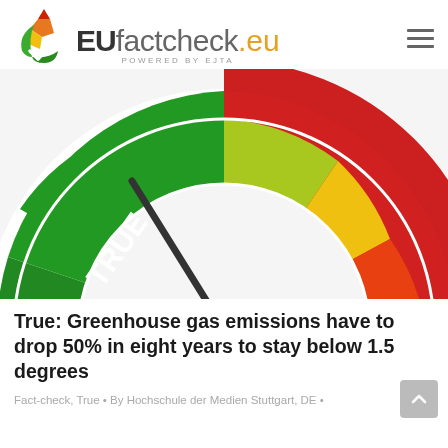[Figure (logo): EU factcheck.eu logo with colored flame/leaf icon and POWERED BY EJTA subtitle]
[Figure (infographic): Fact-check gauge/meter showing TRUE result in green, with yellow and red segments, needle pointing to TRUE]
True: Greenhouse gas emissions have to drop 50% in eight years to stay below 1.5 degrees
Fact-check, True • By Hochschule der Medien Stuttgart, DE •